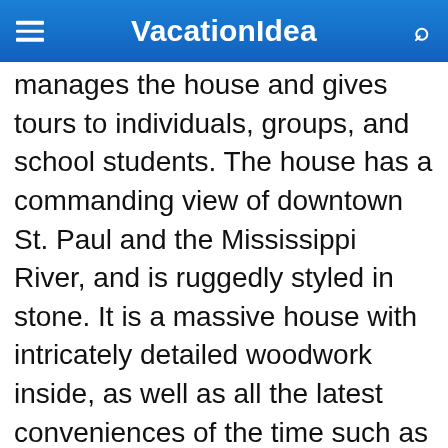VacationIdea
manages the house and gives tours to individuals, groups, and school students. The house has a commanding view of downtown St. Paul and the Mississippi River, and is ruggedly styled in stone. It is a massive house with intricately detailed woodwork inside, as well as all the latest conveniences of the time such as indoor plumbing, secret safes, and electric light. The house also has a pipe organ, which is regularly used to present chamber music concerts. Visiting the house is a fascinating way to learn about the lives of rich people and their servants during the Gilded